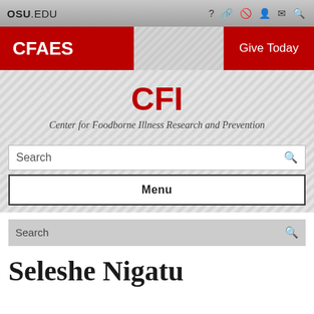OSU.EDU
CFAES
Give Today
CFI
Center for Foodborne Illness Research and Prevention
Search
Menu
Search
Seleshe Nigatu